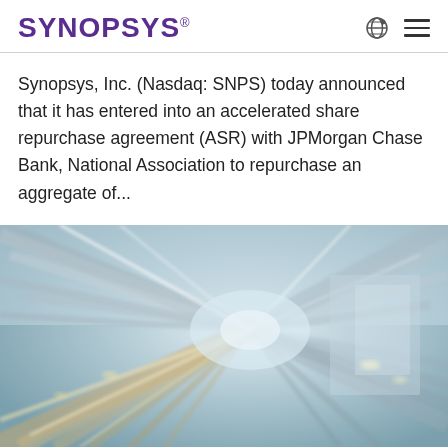SYNOPSYS®
Synopsys, Inc. (Nasdaq: SNPS) today announced that it has entered into an accelerated share repurchase agreement (ASR) with JPMorgan Chase Bank, National Association to repurchase an aggregate of...
[Figure (photo): Motion-blurred photo of a high-speed train or tunnel interior with streaking light trails in blue, grey, and gold tones, conveying speed and acceleration.]